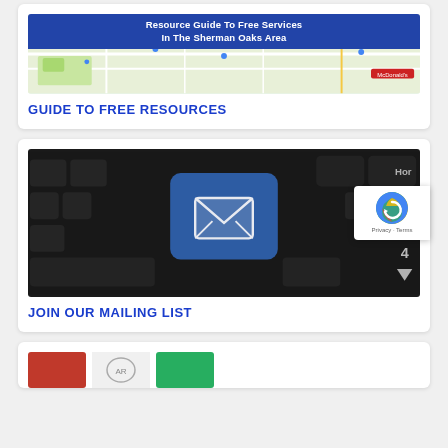[Figure (screenshot): Map image showing Sherman Oaks area with banner text 'Resource Guide To Free Services In The Sherman Oaks Area']
GUIDE TO FREE RESOURCES
[Figure (photo): Close-up photo of a dark keyboard with a blue email/envelope key highlighted in the center, and additional keys visible on the right side showing 'Hor' and '4']
JOIN OUR MAILING LIST
[Figure (screenshot): Partial view of another card showing three thumbnail images at the bottom of the page]